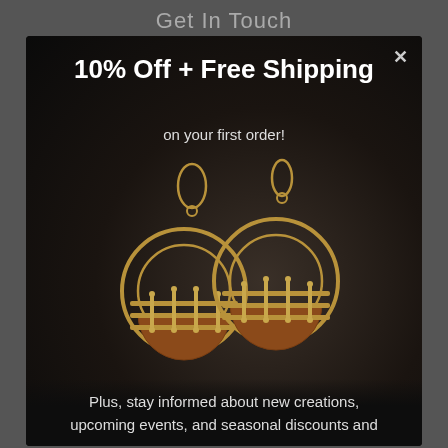Get In Touch
10% Off + Free Shipping
on your first order!
[Figure (photo): Two circular hoop earrings with copper and gold-tone metal construction, featuring barrel/drum accent pieces, photographed against a dark background.]
Plus, stay informed about new creations, upcoming events, and seasonal discounts and